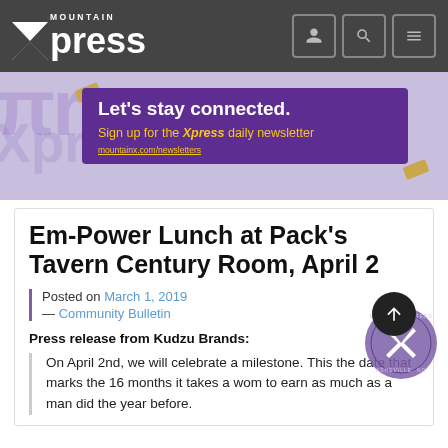Mountain Xpress
[Figure (infographic): Purple promotional banner reading 'Let's stay connected. Sign up for the Xpress daily newsletter' on a lavender background with Mountain Xpress logo watermark]
Em-Power Lunch at Pack's Tavern Century Room, April 2
Posted on March 1, 2019 — Community Bulletin
Press release from Kudzu Brands:
On April 2nd, we will celebrate a milestone. This the date that marks the 16 months it takes a wom to earn as much as a man did the year before.